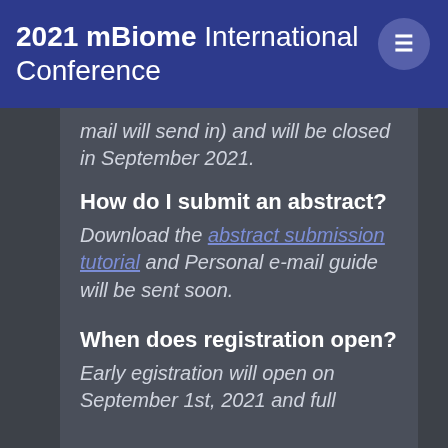2021 mBiome International Conference
mail will send in) and will be closed in September 2021.
How do I submit an abstract?
Download the abstract submission tutorial and Personal e-mail guide will be sent soon.
When does registration open?
Early egistration will open on September 1st, 2021 and full